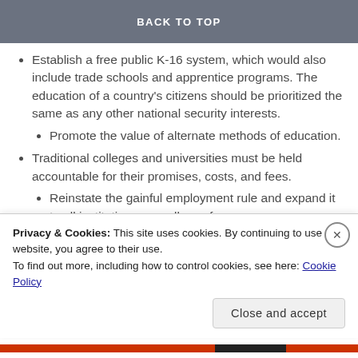BACK TO TOP
Establish a free public K-16 system, which would also include trade schools and apprentice programs. The education of a country's citizens should be prioritized the same as any other national security interests.
Promote the value of alternate methods of education.
Traditional colleges and universities must be held accountable for their promises, costs, and fees.
Reinstate the gainful employment rule and expand it to all institutions regardless of
Privacy & Cookies: This site uses cookies. By continuing to use this website, you agree to their use.
To find out more, including how to control cookies, see here: Cookie Policy
Close and accept